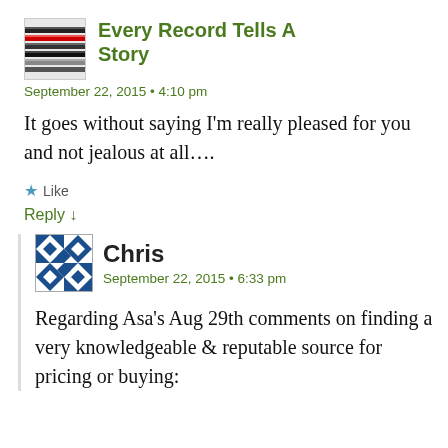[Figure (photo): Thumbnail avatar image showing stacked vinyl records, used as profile picture for 'Every Record Tells A Story']
Every Record Tells A Story
September 22, 2015 • 4:10 pm
It goes without saying I'm really pleased for you and not jealous at all….
★ Like
Reply ↓
[Figure (illustration): Blue and white geometric/quilt pattern avatar image for user Chris]
Chris
September 22, 2015 • 6:33 pm
Regarding Asa's Aug 29th comments on finding a very knowledgeable & reputable source for pricing or buying: